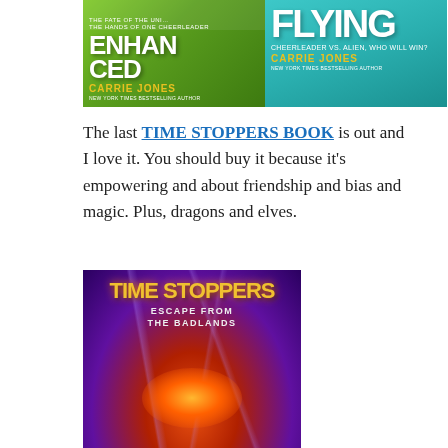[Figure (illustration): Two book covers side by side. Left: 'Enhanced' by Carrie Jones (green background, white bold text, yellow author name). Right: 'Flying' by Carrie Jones (teal/turquoise background, white bold text, yellow author name, tagline 'Cheerleader vs. Alien, Who Will Win?').]
The last TIME STOPPERS BOOK is out and I love it. You should buy it because it's empowering and about friendship and bias and magic. Plus, dragons and elves.
[Figure (illustration): Book cover for 'Time Stoppers: Escape from the Badlands' — dark purple and orange background with lightning and glowing light, fantasy/adventure style cover with gold title text.]